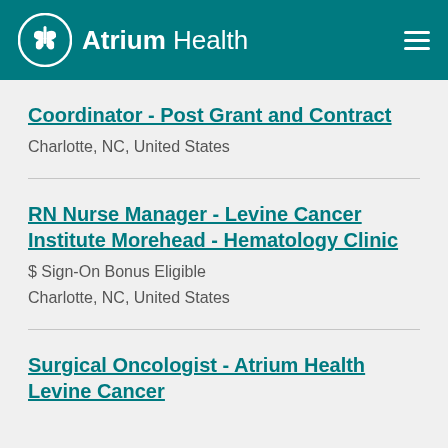Atrium Health
Coordinator - Post Grant and Contract
Charlotte, NC, United States
RN Nurse Manager - Levine Cancer Institute Morehead - Hematology Clinic
$ Sign-On Bonus Eligible
Charlotte, NC, United States
Surgical Oncologist - Atrium Health Levine Cancer